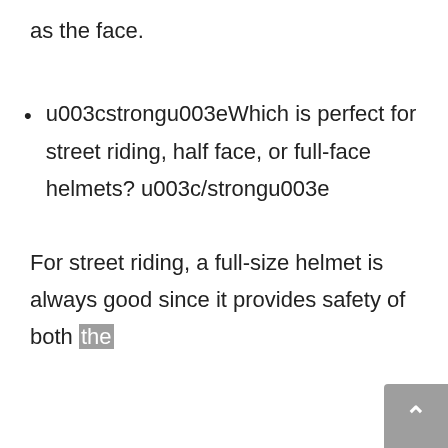as the face.
u003cstrongu003eWhich is perfect for street riding, half face, or full-face helmets? u003c/strongu003e
For street riding, a full-size helmet is always good since it provides safety of both the